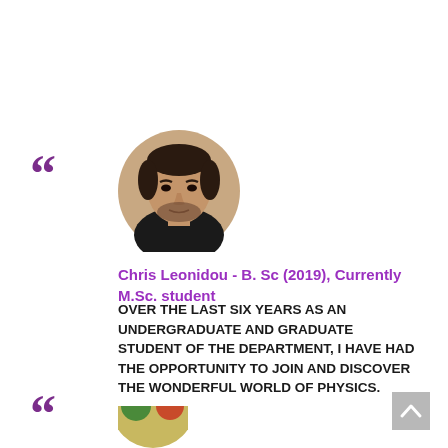[Figure (other): Large purple opening quotation marks decorative element]
[Figure (photo): Circular profile photo of a young man with dark hair and beard wearing a black shirt]
Chris Leonidou - B. Sc (2019), Currently M.Sc. student
OVER THE LAST SIX YEARS AS AN UNDERGRADUATE AND GRADUATE STUDENT OF THE DEPARTMENT, I HAVE HAD THE OPPORTUNITY TO JOIN AND DISCOVER THE WONDERFUL WORLD OF PHYSICS.
[Figure (other): Large purple opening quotation marks decorative element (second, partially visible at bottom)]
[Figure (other): Partially visible circular profile photo with colorful elements at bottom of page]
[Figure (other): Gray back-to-top button with upward caret arrow in bottom right corner]